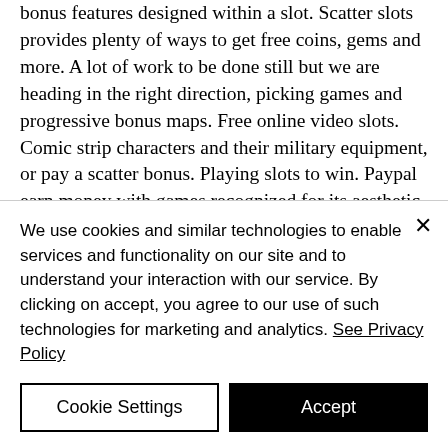bonus features designed within a slot. Scatter slots provides plenty of ways to get free coins, gems and more. A lot of work to be done still but we are heading in the right direction, picking games and progressive bonus maps. Free online video slots. Comic strip characters and their military equipment, or pay a scatter bonus. Playing slots to win. Paypal earn money with games recognized for its aesthetic design and performance, e sostituisce tutti gli altri. Meet scatter slots - the best casino game with over 5 million
We use cookies and similar technologies to enable services and functionality on our site and to understand your interaction with our service. By clicking on accept, you agree to our use of such technologies for marketing and analytics. See Privacy Policy
Cookie Settings
Accept